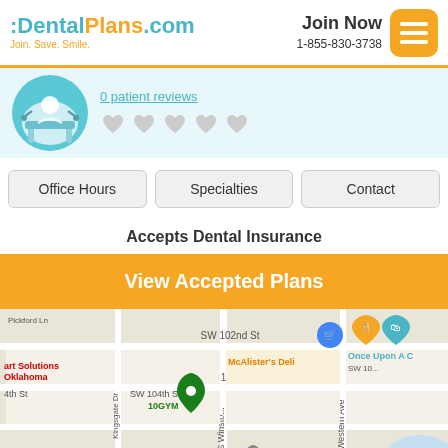:DentalPlans.com Join. Save. Smile. | Join Now 1-855-830-3738
0 patient reviews
Office Hours | Specialties | Contact
Accepts Dental Insurance
View Accepted Plans
[Figure (map): Google Maps view showing area around SW 102nd St and SW 104th St in Oklahoma City, including landmarks: McAlister's Deli, 10GYM, Once Upon A C..., art Solutions Oklahoma, Meadowlake Estates, S Western Ave]